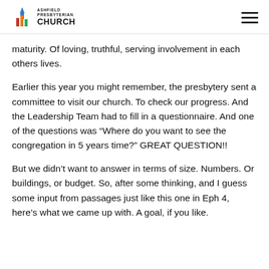Ashfield Presbyterian Church
maturity. Of loving, truthful, serving involvement in each others lives.
Earlier this year you might remember, the presbytery sent a committee to visit our church. To check our progress. And the Leadership Team had to fill in a questionnaire. And one of the questions was “Where do you want to see the congregation in 5 years time?” GREAT QUESTION!!
But we didn’t want to answer in terms of size. Numbers. Or buildings, or budget. So, after some thinking, and I guess some input from passages just like this one in Eph 4, here’s what we came up with. A goal, if you like.